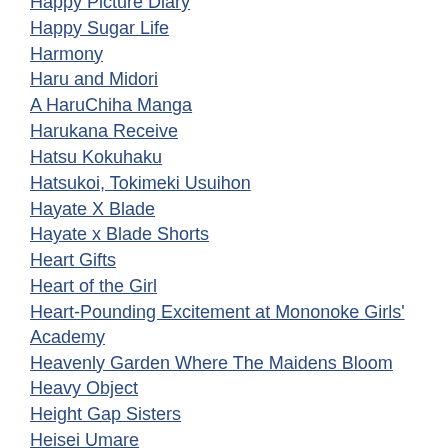Happy Picture Diary
Happy Sugar Life
Harmony
Haru and Midori
A HaruChiha Manga
Harukana Receive
Hatsu Kokuhaku
Hatsukoi, Tokimeki Usuihon
Hayate X Blade
Hayate x Blade Shorts
Heart Gifts
Heart of the Girl
Heart-Pounding Excitement at Mononoke Girls' Academy
Heavenly Garden Where The Maidens Bloom
Heavy Object
Height Gap Sisters
Heisei Umare
Heisei Umare 2
Heisei Umare 3
Helen ESP
Hello, Melancholic!
Henai Girl
Henceforward